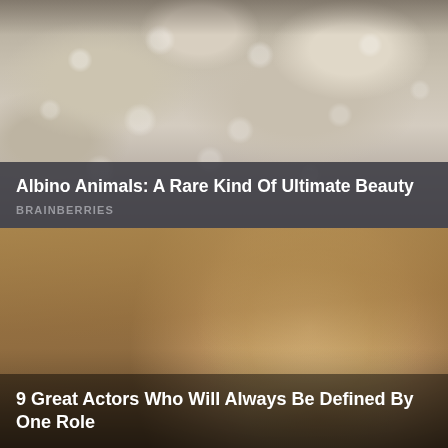[Figure (photo): Close-up of a white/cream albino snake showing detailed scales texture]
Albino Animals: A Rare Kind Of Ultimate Beauty
BRAINBERRIES
[Figure (photo): A woman with straight blonde hair looking up with an expression of exasperation or skepticism, in what appears to be a TV show set (Friends)]
9 Great Actors Who Will Always Be Defined By One Role